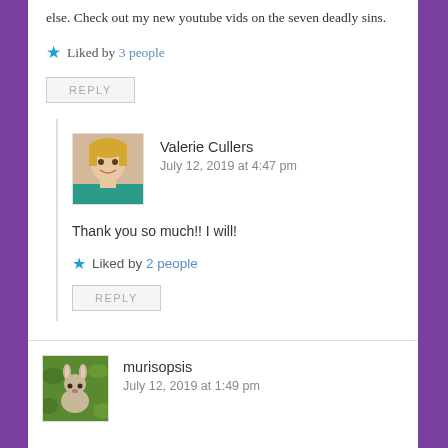else. Check out my new youtube vids on the seven deadly sins.
Liked by 3 people
REPLY
Valerie Cullers
July 12, 2019 at 4:47 pm
Thank you so much!! I will!
Liked by 2 people
REPLY
murisopsis
July 12, 2019 at 1:49 pm